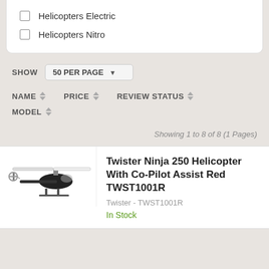Helicopters Electric
Helicopters Nitro
SHOW  50 PER PAGE
NAME  PRICE  REVIEW STATUS  MODEL
Showing 1 to 8 of 8 (1 Pages)
Twister Ninja 250 Helicopter With Co-Pilot Assist Red TWST1001R
Twister - TWST1001R
In Stock
[Figure (photo): Helicopter product photo - Twister Ninja 250]